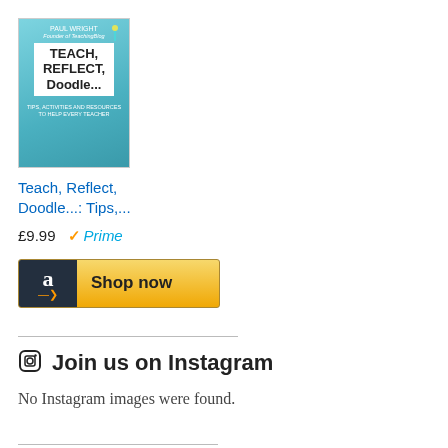[Figure (illustration): Book cover for 'Teach, Reflect, Doodle...: Tips,...' by Paul Wright, with a teal/turquoise background]
Teach, Reflect, Doodle...: Tips,...
£9.99  ✓Prime
[Figure (other): Amazon 'Shop now' button with Amazon logo on black background and gold/yellow button]
Join us on Instagram
No Instagram images were found.
Follow Blog via Email